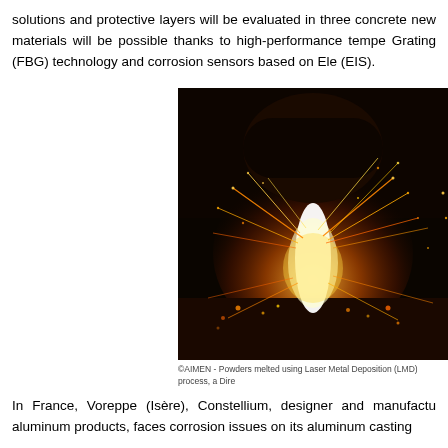solutions and protective layers will be evaluated in three concrete new materials will be possible thanks to high-performance tempe Grating (FBG) technology and corrosion sensors based on Ele (EIS).
[Figure (photo): A dark photograph showing a bright white-orange flame or plasma arc with sparks flying outward against a black background, with glowing orange particles scattered on a surface below. The image shows powders being melted using Laser Metal Deposition (LMD) process.]
©AIMEN - Powders melted using Laser Metal Deposition (LMD) process, a Dire
In France, Voreppe (Isère), Constellium, designer and manufactu aluminum products, faces corrosion issues on its aluminum casting